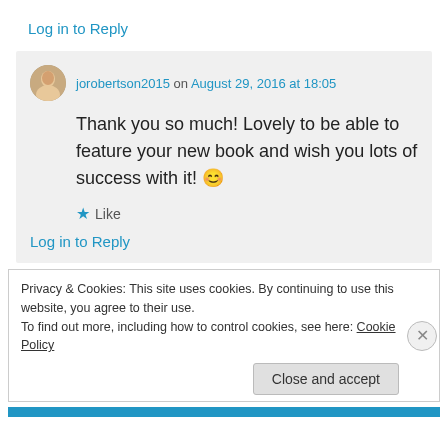Log in to Reply
jorobertson2015 on August 29, 2016 at 18:05
Thank you so much! Lovely to be able to feature your new book and wish you lots of success with it! 😊
★ Like
Log in to Reply
Privacy & Cookies: This site uses cookies. By continuing to use this website, you agree to their use.
To find out more, including how to control cookies, see here: Cookie Policy
Close and accept